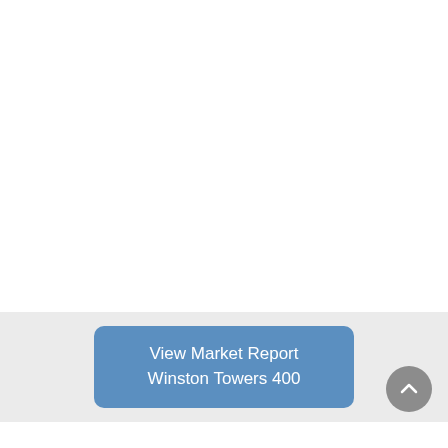[Figure (other): Blue rounded rectangle button with white text reading 'View Market Report Winston Towers 400', set on a light gray banner background, with a gray circular scroll-to-top arrow button in the lower right.]